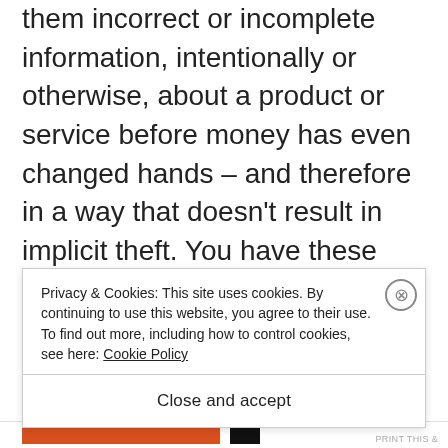right to live in a world where no one gives them incorrect or incomplete information, intentionally or otherwise, about a product or service before money has even changed hands – and therefore in a way that doesn't result in implicit theft. You have these 'rights', says the TSI, and we are the knights in white shining armour who will enforce them on your behalf.
Privacy & Cookies: This site uses cookies. By continuing to use this website, you agree to their use.
To find out more, including how to control cookies, see here: Cookie Policy
Close and accept